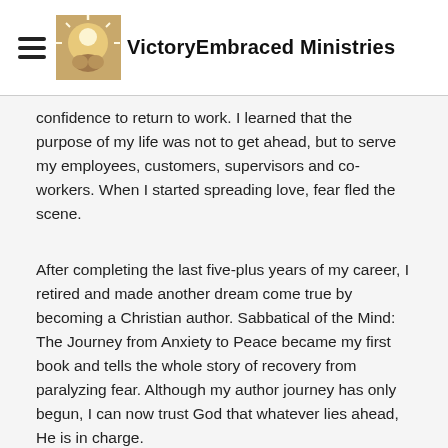VictoryEmbraced Ministries
confidence to return to work. I learned that the purpose of my life was not to get ahead, but to serve my employees, customers, supervisors and co-workers. When I started spreading love, fear fled the scene.
After completing the last five-plus years of my career, I retired and made another dream come true by becoming a Christian author. Sabbatical of the Mind: The Journey from Anxiety to Peace became my first book and tells the whole story of recovery from paralyzing fear. Although my author journey has only begun, I can now trust God that whatever lies ahead, He is in charge.